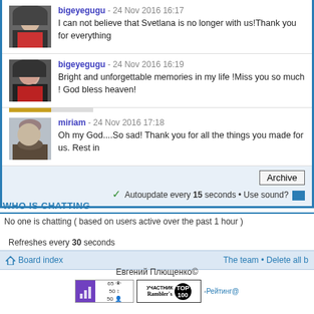bigeyegugu - 24 Nov 2016 16:17
I can not believe that Svetlana is no longer with us!Thank you for everything
bigeyegugu - 24 Nov 2016 16:19
Bright and unforgettable memories in my life !Miss you so much ! God bless heaven!
miriam - 24 Nov 2016 17:18
Oh my God....So sad! Thank you for all the things you made for us. Rest in
Archive
Autoupdate every 15 seconds • Use sound?
WHO IS CHATTING
No one is chatting ( based on users active over the past 1 hour )
Refreshes every 30 seconds
Board index
The team • Delete all b
Евгений Плющенко©
[Figure (screenshot): LiveInternet stats badge with purple icon and numbers 65, 50, 50]
[Figure (screenshot): Rambler TOP 100 участник badge]
[Figure (screenshot): Рейтинг@ partial badge]